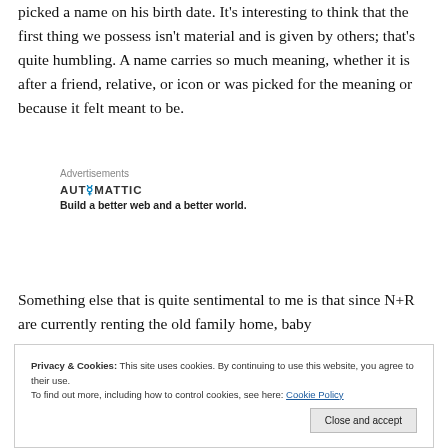picked a name on his birth date. It's interesting to think that the first thing we possess isn't material and is given by others; that's quite humbling. A name carries so much meaning, whether it is after a friend, relative, or icon or was picked for the meaning or because it felt meant to be.
Advertisements
AUTOMATTIC
Build a better web and a better world.
Something else that is quite sentimental to me is that since N+R are currently renting the old family home, baby
Privacy & Cookies: This site uses cookies. By continuing to use this website, you agree to their use.
To find out more, including how to control cookies, see here: Cookie Policy
Close and accept